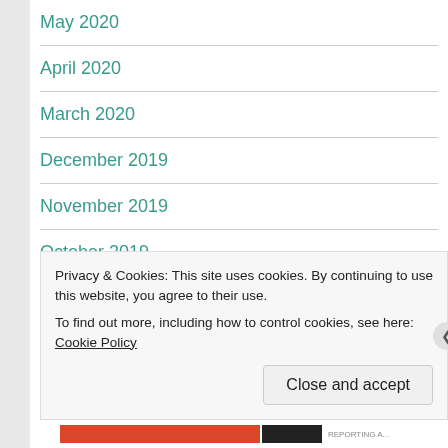May 2020
April 2020
March 2020
December 2019
November 2019
October 2019
September 2019
August 2019
Privacy & Cookies: This site uses cookies. By continuing to use this website, you agree to their use.
To find out more, including how to control cookies, see here: Cookie Policy
Close and accept